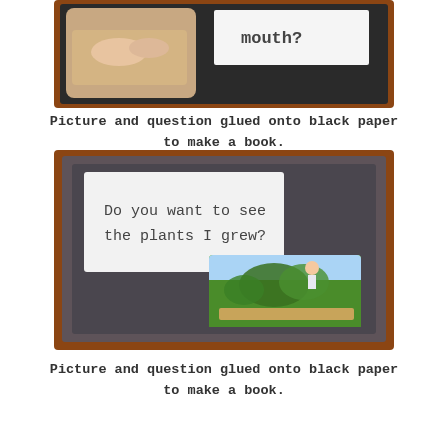[Figure (photo): Photo of hands on cutting board next to a white card with the text 'mouth?' on a dark background, glued onto black paper]
Picture and question glued onto black paper to make a book.
[Figure (photo): Photo of a book page on dark gray/black paper with a white card reading 'Do you want to see the plants I grew?' and a photo of a child standing behind a raised garden bed full of green plants on grass]
Picture and question glued onto black paper to make a book.